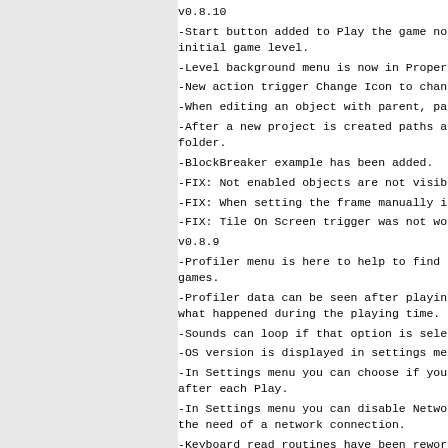v0.8.10
-Start button added to Play the game not from initial game level.
-Level background menu is now in Properties ta
-New action trigger Change Icon to change an o
-When editing an object with parent, parent ob
-After a new project is created paths are init folder.
-BlockBreaker example has been added.
-FIX: Not enabled objects are not visible anym
-FIX: When setting the frame manually in Anima
-FIX: Tile On Screen trigger was not working p
v0.8.9
-Profiler menu is here to help to find out any games.
-Profiler data can be seen after playing a gam what happened during the playing time.
-Sounds can loop if that option is selected in
-OS version is displayed in settings menu.
-In Settings menu you can choose if you want t after each Play.
-In Settings menu you can disable Network to t the need of a network connection.
-Keyboard read routines have been reworked.
-Fix for the keyboard image display in Input S
-Fix in export triggers to text, some triggers
v0.8.8
-In Objects screen it is possible to quick jum